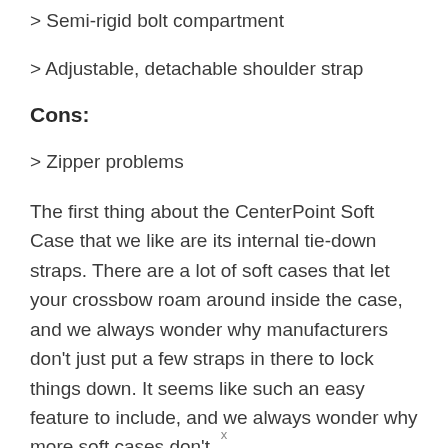> Semi-rigid bolt compartment
> Adjustable, detachable shoulder strap
Cons:
> Zipper problems
The first thing about the CenterPoint Soft Case that we like are its internal tie-down straps. There are a lot of soft cases that let your crossbow roam around inside the case, and we always wonder why manufacturers don't just put a few straps in there to lock things down. It seems like such an easy feature to include, and we always wonder why more soft cases don't
x